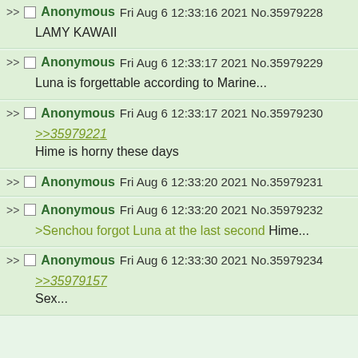Anonymous Fri Aug 6 12:33:16 2021 No.35979228
LAMY KAWAII
Anonymous Fri Aug 6 12:33:17 2021 No.35979229
Luna is forgettable according to Marine...
Anonymous Fri Aug 6 12:33:17 2021 No.35979230
>>35979221
Hime is horny these days
Anonymous Fri Aug 6 12:33:20 2021 No.35979231
Anonymous Fri Aug 6 12:33:20 2021 No.35979232
>Senchou forgot Luna at the last second
Hime...
Anonymous Fri Aug 6 12:33:30 2021 No.35979234
>>35979157
Sex...